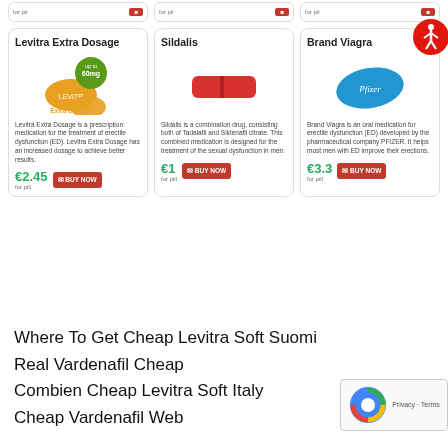[Figure (other): Top partial row of 3 product card stubs with red buy buttons]
[Figure (other): Levitra Extra Dosage product card with pill image, price €2.45 per pill, Buy Now button]
[Figure (other): Sildalis product card with red pill image, price €1 per pill, Buy Now button]
[Figure (other): Brand Viagra product card with blue Pfizer diamond pill image, price €3.3 per pill, Buy Now button, accessibility badge]
Where To Get Cheap Levitra Soft Suomi
Real Vardenafil Cheap
Combien Cheap Levitra Soft Italy
Cheap Vardenafil Web
[Figure (other): reCAPTCHA widget with Privacy · Terms text]